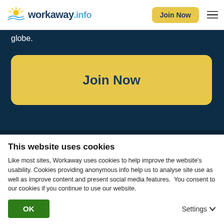workaway.info — Join Now
globe.
Join Now
Workaway
Find a host
This website uses cookies
Like most sites, Workaway uses cookies to help improve the website's usability. Cookies providing anonymous info help us to analyse site use as well as improve content and present social media features.  You consent to our cookies if you continue to use our website.
OK
Settings